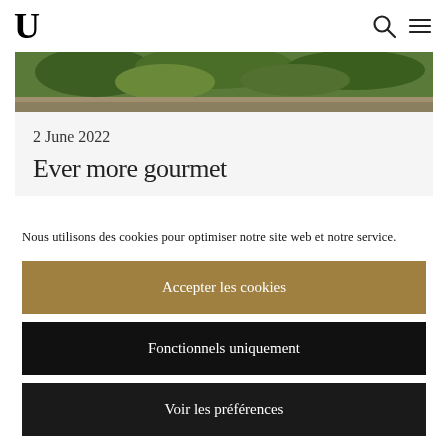U
[Figure (photo): Partial view of a garden/landscape with green foliage and stone wall at the top of the page]
2 June 2022
Ever more gourmet
Nous utilisons des cookies pour optimiser notre site web et notre service.
Accepter les cookies
Fonctionnels uniquement
Voir les préférences
CGU  CGU